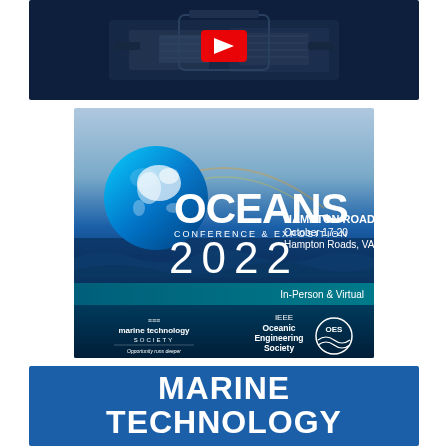[Figure (photo): ROV/underwater equipment on dark navy blue background with YouTube play button overlay]
[Figure (infographic): OCEANS 2022 Conference & Exposition banner: Hampton Roads, October 17-20, Hampton Roads VA, In-Person & Virtual, with globe graphic, Marine Technology Society and IEEE Oceanic Engineering Society logos, ocean background]
[Figure (logo): Marine Technology Society / MARINE TECHNOLOGY text on blue background]